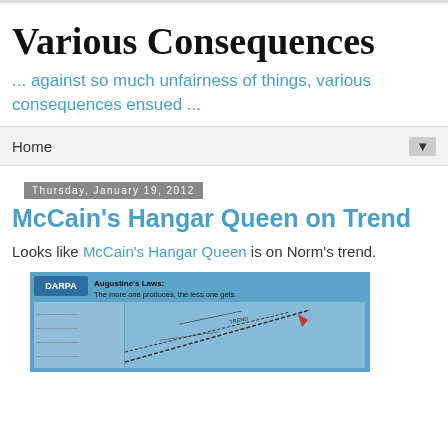Various Consequences
... against so much unfairness of things, various consequences ensued ...
Home
Thursday, January 19, 2012
McCain's Hangar Queen on Trend
Looks like McCain's Hangar Queen is on Norm's trend.
[Figure (screenshot): DARPA slide showing Augustine's Laws: The more one produces, the less one gets. A chart with declining curve and a red arrow.]